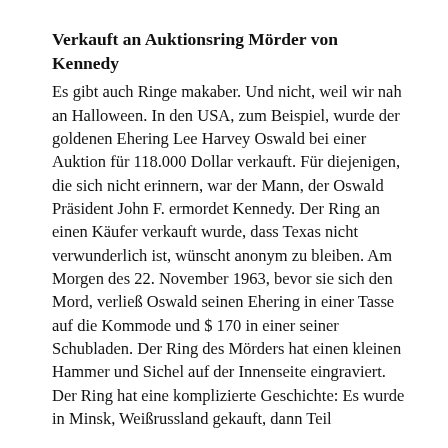Verkauft an Auktionsring Mörder von Kennedy
Es gibt auch Ringe makaber. Und nicht, weil wir nah an Halloween. In den USA, zum Beispiel, wurde der goldenen Ehering Lee Harvey Oswald bei einer Auktion für 118.000 Dollar verkauft. Für diejenigen, die sich nicht erinnern, war der Mann, der Oswald Präsident John F. ermordet Kennedy. Der Ring an einen Käufer verkauft wurde, dass Texas nicht verwunderlich ist, wünscht anonym zu bleiben. Am Morgen des 22. November 1963, bevor sie sich den Mord, verließ Oswald seinen Ehering in einer Tasse auf die Kommode und $ 170 in einer seiner Schubladen. Der Ring des Mörders hat einen kleinen Hammer und Sichel auf der Innenseite eingraviert. Der Ring hat eine komplizierte Geschichte: Es wurde in Minsk, Weißrussland gekauft, dann Teil